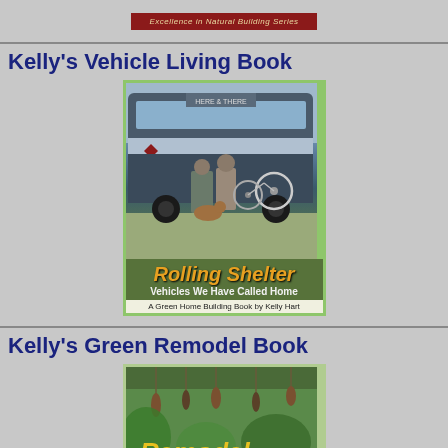[Figure (photo): Top banner with dark red background and text 'Excellence in Natural Building Series']
Kelly's Vehicle Living Book
[Figure (photo): Book cover: 'Rolling Shelter: Vehicles We Have Called Home' - A Green Home Building Book by Kelly Hart. Shows two people standing in front of a large converted bus with bicycles leaning against it.]
Kelly's Green Remodel Book
[Figure (photo): Book cover: Partially visible, showing 'Remodel' title text in yellow-orange italic font over a green outdoor scene with hanging objects.]